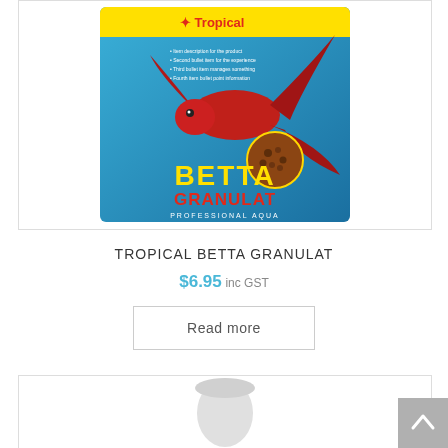[Figure (photo): Product image of Tropical Betta Granulat fish food packaging. Blue packet featuring a red betta fish, with 'Tropical' logo at top, 'BETTA GRANULAT' in large yellow and red text, and 'Professional Aqua' text at bottom. A circular inset shows granule texture.]
TROPICAL BETTA GRANULAT
$6.95 inc GST
Read more
[Figure (photo): Partial product image visible at bottom of page, showing a white/light colored cylindrical product container.]